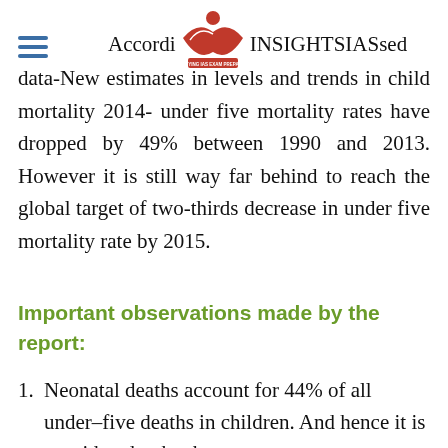[Figure (logo): InsightsIAS logo with red open book icon and text 'INSIGHTSIAS SIMPLIFYING IAS EXAM PREPARATION']
According to the released data-New estimates in levels and trends in child mortality 2014- under five mortality rates have dropped by 49% between 1990 and 2013. However it is still way far behind to reach the global target of two-thirds decrease in under five mortality rate by 2015.
Important observations made by the report:
Neonatal deaths account for 44% of all under–five deaths in children. And hence it is considered to be the most